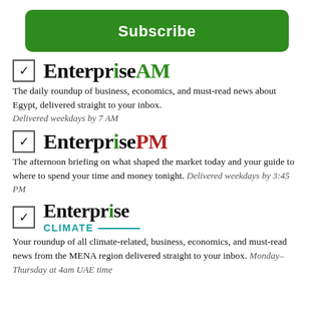[Figure (other): Green Subscribe button]
Enterprise AM — The daily roundup of business, economics, and must-read news about Egypt, delivered straight to your inbox. Delivered weekdays by 7 AM
Enterprise PM — The afternoon briefing on what shaped the market today and your guide to where to spend your time and money tonight. Delivered weekdays by 3:45 PM
Enterprise Climate — Your roundup of all climate-related, business, economics, and must-read news from the MENA region delivered straight to your inbox. Monday–Thursday at 4am UAE time